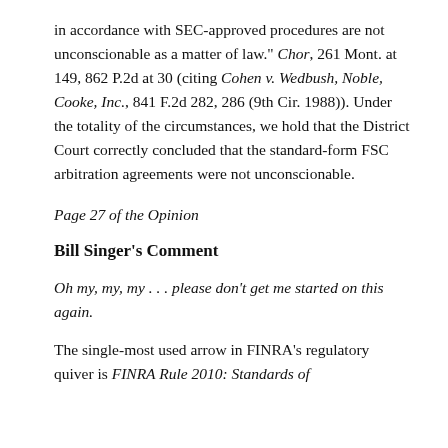in accordance with SEC-approved procedures are not unconscionable as a matter of law." Chor, 261 Mont. at 149, 862 P.2d at 30 (citing Cohen v. Wedbush, Noble, Cooke, Inc., 841 F.2d 282, 286 (9th Cir. 1988)). Under the totality of the circumstances, we hold that the District Court correctly concluded that the standard-form FSC arbitration agreements were not unconscionable.
Page 27 of the Opinion
Bill Singer's Comment
Oh my, my, my . . . please don't get me started on this again.
The single-most used arrow in FINRA's regulatory quiver is FINRA Rule 2010: Standards of